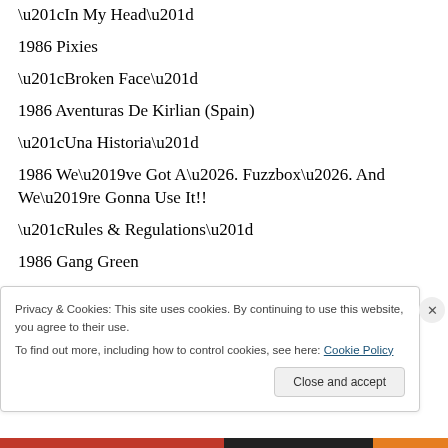“In My Head”
1986 Pixies
“Broken Face”
1986 Aventuras De Kirlian (Spain)
“Una Historia”
1986 We’ve Got A…. Fuzzbox…. And We’re Gonna Use It!!
“Rules & Regulations”
1986 Gang Green
Privacy & Cookies: This site uses cookies. By continuing to use this website, you agree to their use.
To find out more, including how to control cookies, see here: Cookie Policy